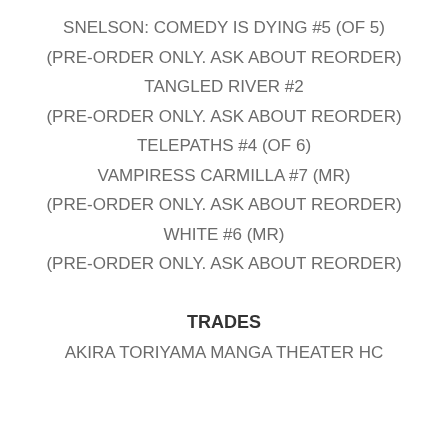SNELSON: COMEDY IS DYING #5 (OF 5)
(PRE-ORDER ONLY. ASK ABOUT REORDER)
TANGLED RIVER #2
(PRE-ORDER ONLY. ASK ABOUT REORDER)
TELEPATHS #4 (OF 6)
VAMPIRESS CARMILLA #7 (MR)
(PRE-ORDER ONLY. ASK ABOUT REORDER)
WHITE #6 (MR)
(PRE-ORDER ONLY. ASK ABOUT REORDER)
TRADES
AKIRA TORIYAMA MANGA THEATER HC